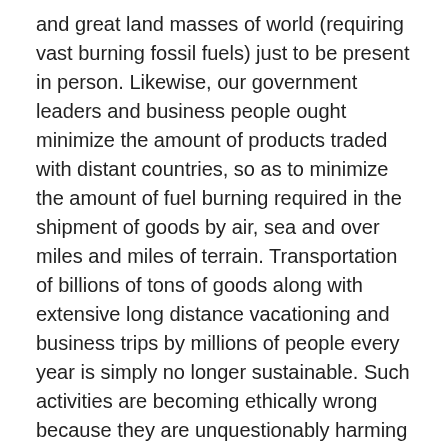and great land masses of world (requiring vast burning fossil fuels) just to be present in person. Likewise, our government leaders and business people ought minimize the amount of products traded with distant countries, so as to minimize the amount of fuel burning required in the shipment of goods by air, sea and over miles and miles of terrain. Transportation of billions of tons of goods along with extensive long distance vacationing and business trips by millions of people every year is simply no longer sustainable. Such activities are becoming ethically wrong because they are unquestionably harming the planet and all the living things it is home to, both now and in the future.
We cannot and must not wait for technology to bail us out. Scientists the world over say it is now paramount that all humans begin acting in significant ways to reduce their